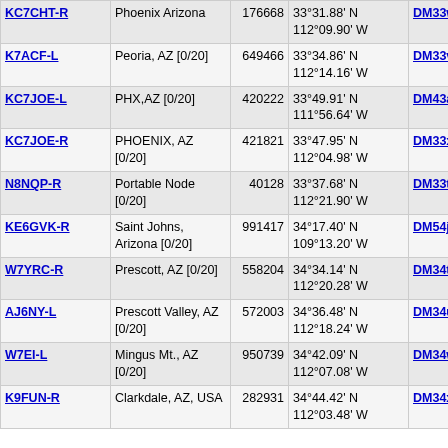| Callsign | Location | Node# | Coordinates | Grid | Miles | Freq |
| --- | --- | --- | --- | --- | --- | --- |
| KC7CHT-R | Phoenix Arizona | 176668 | 33°31.88' N 112°09.90' W | DM33ws | 120.1 | 111.375 |
| K7ACF-L | Peoria, AZ [0/20] | 649466 | 33°34.86' N 112°14.16' W | DM33vn | 121.4 |  |
| KC7JOE-L | PHX,AZ [0/20] | 420222 | 33°49.91' N 111°56.64' W | DM43at | 124.5 |  |
| KC7JOE-R | PHOENIX, AZ [0/20] | 421821 | 33°47.95' N 112°04.98' W | DM33xt | 127.2 |  |
| N8NQP-R | Portable Node [0/20] | 40128 | 33°37.68' N 112°21.90' W | DM33tp | 128.9 |  |
| KE6GVK-R | Saint Johns, Arizona [0/20] | 991417 | 34°17.40' N 109°13.20' W | DM54jg | 164.2 |  |
| W7YRC-R | Prescott, AZ [0/20] | 558204 | 34°34.14' N 112°20.28' W | DM34tn | 179.8 | 146.880 |
| AJ6NY-L | Prescott Valley, AZ [0/20] | 572003 | 34°36.48' N 112°18.24' W | DM34uo | 181.2 |  |
| W7EI-L | Mingus Mt., AZ [0/20] | 950739 | 34°42.09' N 112°07.08' W | DM34wq | 182.1 |  |
| K9FUN-R | Clarkdale, AZ, USA | 282931 | 34°44.42' N 112°03.48' W | DM34xr | 183.1 | 441.775 |